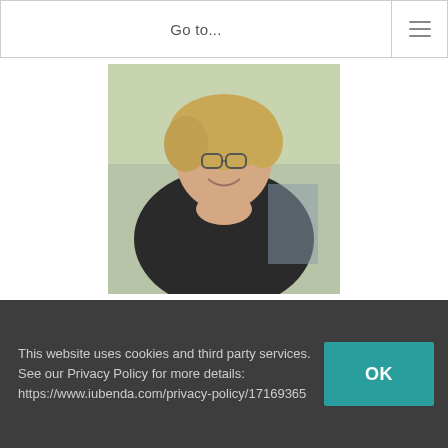Go to...
[Figure (photo): Portrait photo of Kimberly Barthel, a smiling woman with glasses and curly hair, wearing a black leather jacket, seated outdoors.]
Kimberly Barthel
Kim Barthel is an award-winning occupational therapist from Canada, a trans-disciplinary teacher and best-selling author who is actively supporting function, healing and learning across many contexts. A pioneer in reinforcing the importance of relationship, Kim's passionate interests include complex behaviour...
This website uses cookies and third party services. See our Privacy Policy for more details: https://www.iubenda.com/privacy-policy/17169365